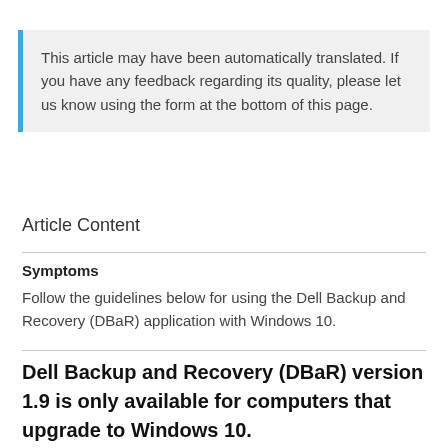This article may have been automatically translated. If you have any feedback regarding its quality, please let us know using the form at the bottom of this page.
Article Content
Symptoms
Follow the guidelines below for using the Dell Backup and Recovery (DBaR) application with Windows 10.
Dell Backup and Recovery (DBaR) version 1.9 is only available for computers that upgrade to Windows 10.